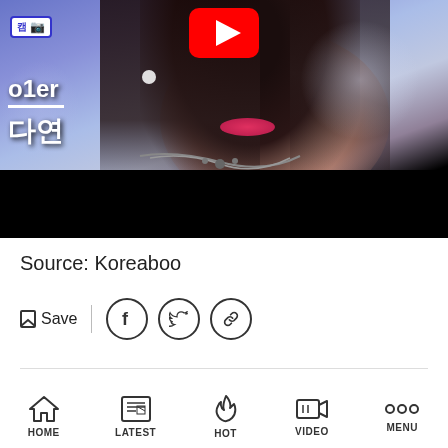[Figure (screenshot): YouTube video thumbnail showing a K-pop performer with dark hair, wearing a chain necklace, with Korean text overlay reading '캠' and '다연', and a YouTube play button at the top center. The lower portion of the thumbnail is a black bar.]
Source: Koreaboo
Save
HOME  LATEST  HOT  VIDEO  MENU